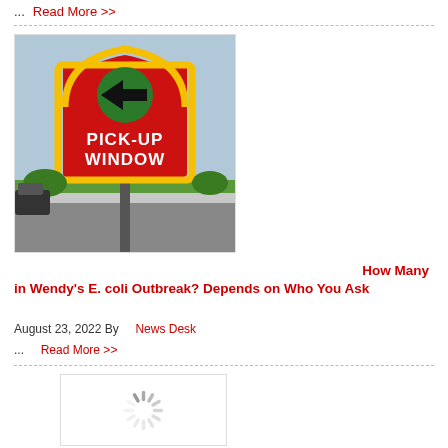...
Read More >>
[Figure (photo): Wendy's Pick-Up Window sign with red background, yellow border, and left-pointing arrow]
How Many in Wendy's E. coli Outbreak? Depends on Who You Ask
August 23, 2022 By News Desk
... Read More >>
[Figure (photo): Loading spinner / image placeholder]